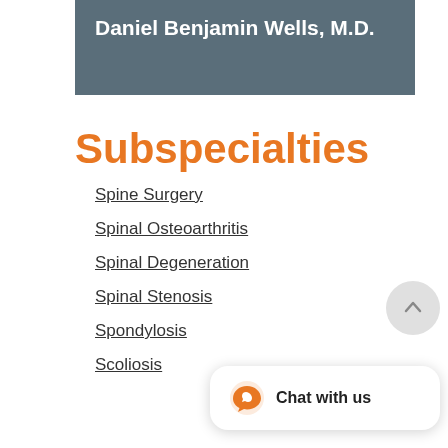Daniel Benjamin Wells, M.D.
Subspecialties
Spine Surgery
Spinal Osteoarthritis
Spinal Degeneration
Spinal Stenosis
Spondylosis
Scoliosis
[Figure (other): Chat with us widget with orange chat icon and scroll-to-top button]